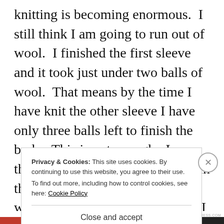knitting is becoming enormous.  I still think I am going to run out of wool.  I finished the first sleeve and it took just under two balls of wool.  That means by the time I have knit the other sleeve I have only three balls left to finish the body.  This is not enough.  I therefore spent some of my time in the van imagining what knitters what know what to do would do, I then wondered if there was a hall of fame for 'great
Privacy & Cookies: This site uses cookies. By continuing to use this website, you agree to their use.
To find out more, including how to control cookies, see here: Cookie Policy
Close and accept